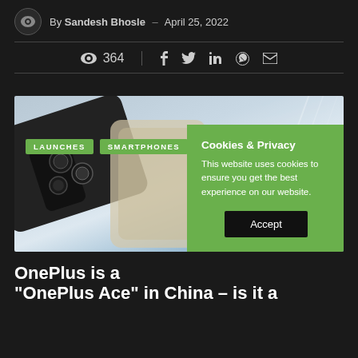By Sandesh Bhosle – April 25, 2022
364 views | Share on Facebook, Twitter, LinkedIn, WhatsApp, Email
[Figure (photo): OnePlus smartphone product photo with LAUNCHES and SMARTPHONES category tags overlaid]
Cookies & Privacy
This website uses cookies to ensure you get the best experience on our website.
Accept
OnePlus is a... "OnePlus Ace" in China – is it a